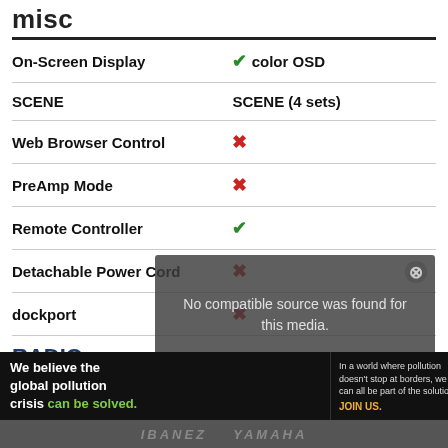misc
| Feature | Value |
| --- | --- |
| On-Screen Display | ✓ color OSD |
| SCENE | SCENE (4 sets) |
| Web Browser Control | ✗ |
| PreAmp Mode | ✗ |
| Remote Controller | ✓ |
| Detachable Power Cord | ✗ |
| dockport | ✗ |
RADIO
[Figure (screenshot): Video overlay showing 'No compatible source was found for this media.' with a close button]
[Figure (photo): Advertisement banner for Pure Earth: 'We believe the global pollution crisis can be solved.' with JOIN US call to action]